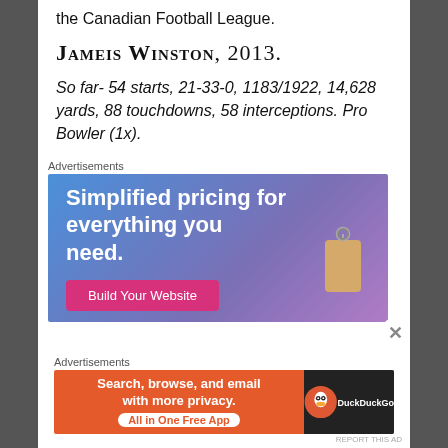the Canadian Football League.
Jameis Winston, 2013.
So far- 54 starts, 21-33-0, 1183/1922, 14,628 yards, 88 touchdowns, 58 interceptions. Pro Bowler (1x).
[Figure (advertisement): Web hosting advertisement: 'Simplified pricing for everything you need.' with a 'Build Your Website' button and a price tag illustration, on a blue-purple gradient background.]
[Figure (advertisement): DuckDuckGo advertisement: 'Search, browse, and email with more privacy. All in One Free App' on an orange background with DuckDuckGo logo on dark background.]